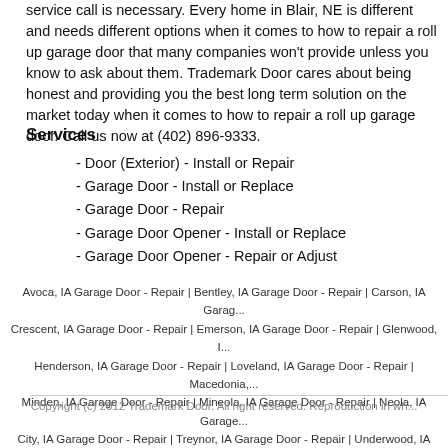service call is necessary. Every home in Blair, NE is different and needs different options when it comes to how to repair a roll up garage door that many companies won't provide unless you know to ask about them. Trademark Door cares about being honest and providing you the best long term solution on the market today when it comes to how to repair a roll up garage door. Call us now at (402) 896-9333.
Services
- Door (Exterior) - Install or Repair
- Garage Door - Install or Replace
- Garage Door - Repair
- Garage Door Opener - Install or Replace
- Garage Door Opener - Repair or Adjust
Avoca, IA Garage Door - Repair | Bentley, IA Garage Door - Repair | Carson, IA Garage... Crescent, IA Garage Door - Repair | Emerson, IA Garage Door - Repair | Glenwood, I... Henderson, IA Garage Door - Repair | Loveland, IA Garage Door - Repair | Macedonia,... Minden, IA Garage Door - Repair | Mineola, IA Garage Door - Repair | Neola, IA Garage... City, IA Garage Door - Repair | Treynor, IA Garage Door - Repair | Underwood, IA Garage...
Copyright (c) 2012 Trademark Door. All right reserved. Reproduction in wh...